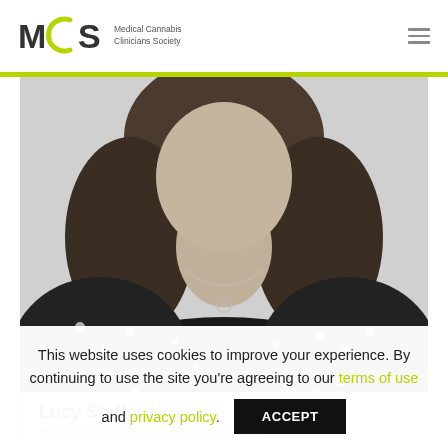Medical Cannabis Clinicians Society
[Figure (photo): Black and white portrait photo of Lucy Stafford, a woman wearing a floral dress with a necklace, cropped at chest level]
Lucy Stafford
Patient Advocate, Patient & PLEA Director
This website uses cookies to improve your experience. By continuing to use the site you’re agreeing to our terms of use and privacy policy.
ACCEPT